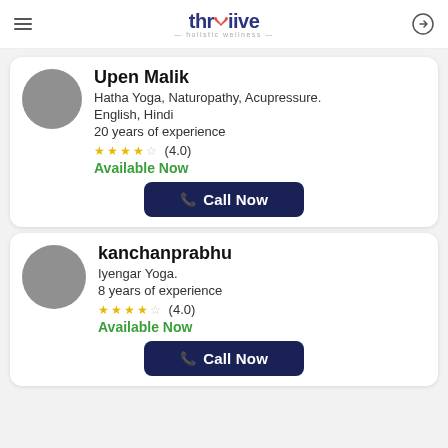thriive holistic wellness
Upen Malik
Hatha Yoga, Naturopathy, Acupressure.
English, Hindi
20 years of experience
(4.0)
Available Now
Call Now
kanchanprabhu
Iyengar Yoga.
8 years of experience
(4.0)
Available Now
Call Now